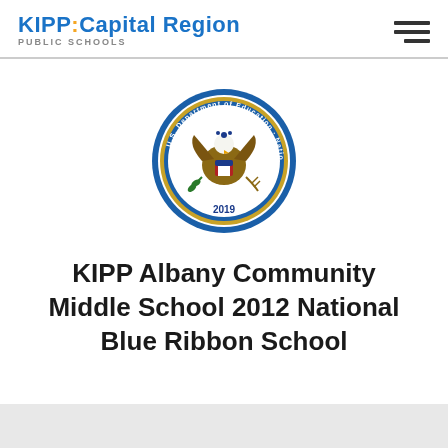KIPP: Capital Region PUBLIC SCHOOLS
[Figure (logo): U.S. Department of Education National Blue Ribbon School 2019 seal — circular badge with eagle and shield, blue border with gold text]
KIPP Albany Community Middle School 2012 National Blue Ribbon School